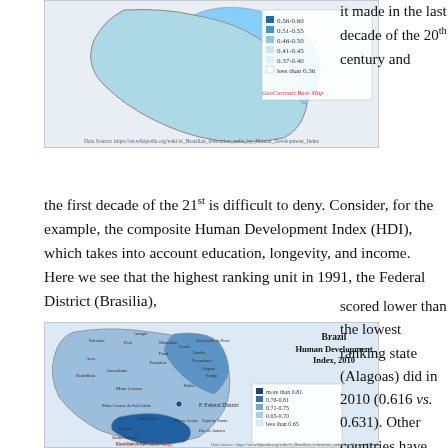[Figure (map): Map of Brazil showing Human Development Index by state, top portion visible, with a legend showing HDI ranges from 'less than 0.36' to '0.56-0.60', labeled GeoCurrents Base Map]
it made in the last decade of the 20th century and the first decade of the 21st is difficult to deny. Consider, for the example, the composite Human Development Index (HDI), which takes into account education, longevity, and income. Here we see that the highest ranking unit in 1991, the Federal District (Brasilia),
[Figure (map): Map of Brazil Human Development Index, 2010, showing states colored by HDI value with legend ranging from 'less than 0.65' to 'more than 0.81', labeled GeoCurrents Base Map]
scored lower than the lowest ranking state (Alagoas) did in 2010 (0.616 vs. 0.631). Other countries have also seen major